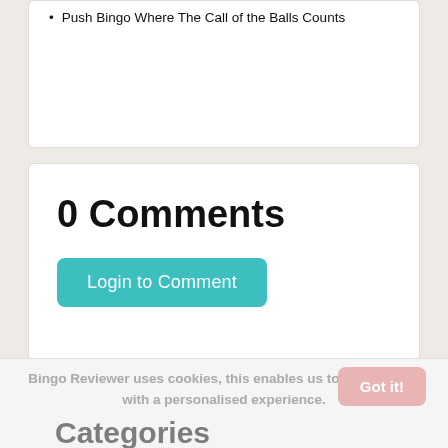Push Bingo Where The Call of the Balls Counts
0 Comments
Login to Comment
Bingo Reviewer uses cookies, this enables us to provide you with a personalised experience.
Categories